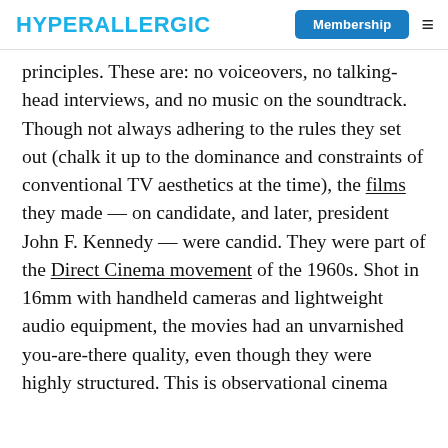HYPERALLERGIC | Membership
principles. These are: no voiceovers, no talking-head interviews, and no music on the soundtrack. Though not always adhering to the rules they set out (chalk it up to the dominance and constraints of conventional TV aesthetics at the time), the films they made — on candidate, and later, president John F. Kennedy — were candid. They were part of the Direct Cinema movement of the 1960s. Shot in 16mm with handheld cameras and lightweight audio equipment, the movies had an unvarnished you-are-there quality, even though they were highly structured. This is observational cinema